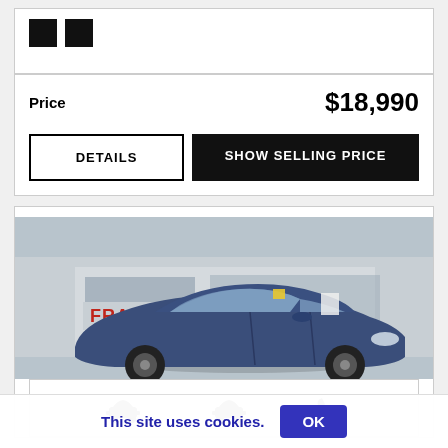[Figure (other): Two black color swatch squares]
Price  $18,990
DETAILS  |  SHOW SELLING PRICE
[Figure (photo): A blue sedan parked at Frank Boucher dealership, overcast sky, dealership facade visible in background with red FRANK BOUCHER signage]
[Figure (other): Car icon, car icon, phone icon in bottom navigation row]
This site uses cookies.  OK